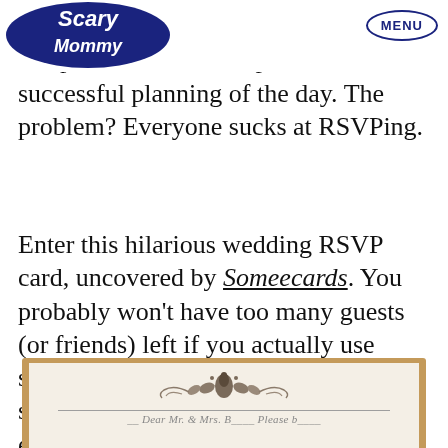Scary Mommy | MENU
w many people you have your wedding is a painful and ous step to the successful planning of the day. The problem? Everyone sucks at RSVPing.
Enter this hilarious wedding RSVP card, uncovered by Someecards. You probably won't have too many guests (or friends) left if you actually use something like this. But let it provide some much-needed comic relief — even if you'd never send it.
[Figure (photo): Bottom portion of a formal wedding RSVP card with decorative floral/scroll ornament at top, a horizontal line below it, and cursive script text partially visible at the bottom. Card has cream/ivory background with a wooden frame visible around it.]